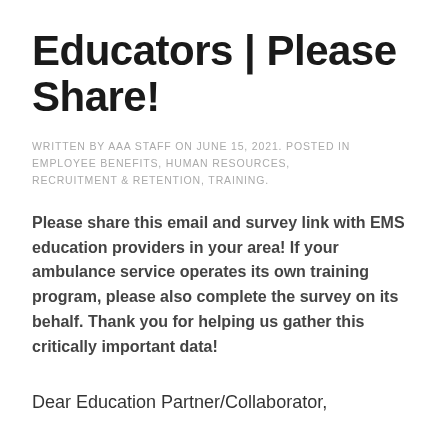Educators | Please Share!
WRITTEN BY AAA STAFF ON JUNE 15, 2021. POSTED IN EMPLOYEE BENEFITS, HUMAN RESOURCES, RECRUITMENT & RETENTION, TRAINING.
Please share this email and survey link with EMS education providers in your area! If your ambulance service operates its own training program, please also complete the survey on its behalf. Thank you for helping us gather this critically important data!
Dear Education Partner/Collaborator,